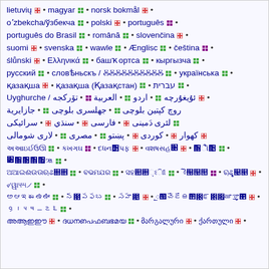lietuvių • magyar • norsk bokmål •
o'zbekcha/ўзбекча • polski • português •
português do Brasil • română • slovenčina •
suomi • svenska • wawle • Ænglisc • čeština •
ślůnski • Ελληνικά • башҡортса • кыргызча •
русский • словѣньскъ / ⰋⰋⰋⰋ • українська •
қазақша • қазақша (Қазақстан) • עברית •
Uyghurche / ئۇيغۇرچە • اردو • العربية • تۆرکجه •
روچ کپتین بلوچی • جهلسری بلوچی • جازایریة
لئری دَمینی • فارسی • سنڌي • سرائیکی
کهوار • کوردی • پښتو • مصری • لاری شومالی
[script line 1]
[script line 2]
[script line 3]
[script line 4 - მარგალური • ქართული •]